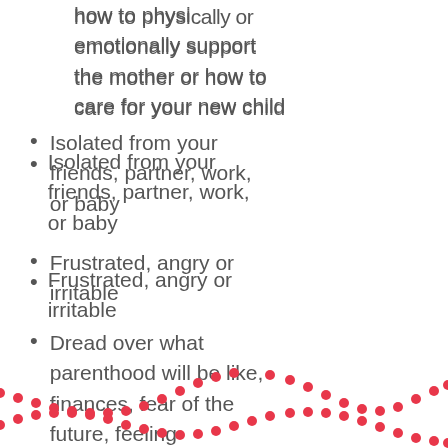how to physically or emotionally support the mother or how to care for your new child
Isolated from your friends, partner, work, or baby
Frustrated, angry or irritable
Dread over what parenthood will be like, finances, fear of the future, feeling unprepared
[Figure (illustration): Decorative dotted wave pattern in red/pink at the bottom of the page]